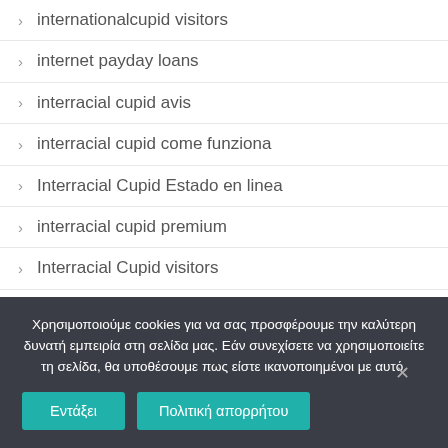internationalcupid visitors
internet payday loans
interracial cupid avis
interracial cupid come funziona
Interracial Cupid Estado en linea
interracial cupid premium
Interracial Cupid visitors
Interracial Dating visitors
Χρησιμοποιούμε cookies για να σας προσφέρουμε την καλύτερη δυνατή εμπειρία στη σελίδα μας. Εάν συνεχίσετε να χρησιμοποιείτε τη σελίδα, θα υποθέσουμε πως είστε ικανοποιημένοι με αυτό.
Εντάξει   Πολιτική απορρήτου